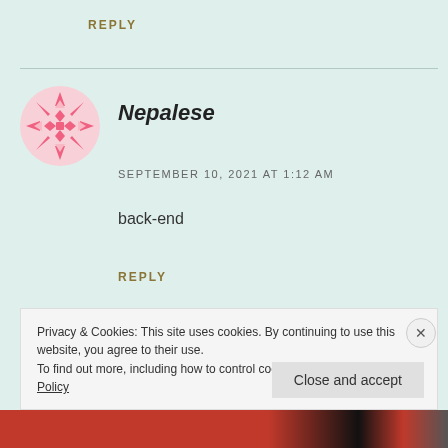REPLY
[Figure (illustration): Circular avatar with pink geometric snowflake/mandala pattern on light pink background]
Nepalese
SEPTEMBER 10, 2021 AT 1:12 AM
back-end
REPLY
Privacy & Cookies: This site uses cookies. By continuing to use this website, you agree to their use.
To find out more, including how to control cookies, see here: Cookie Policy
Close and accept